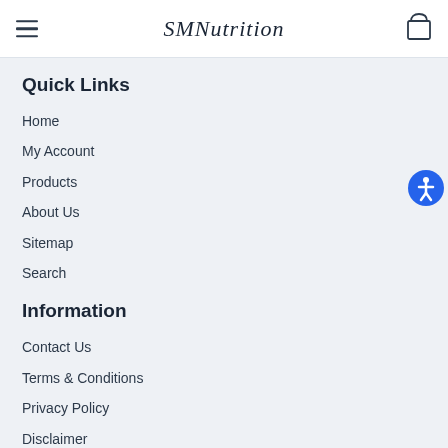SMNutrition
Quick Links
Home
My Account
Products
About Us
Sitemap
Search
Information
Contact Us
Terms & Conditions
Privacy Policy
Disclaimer
Shipping & Returns